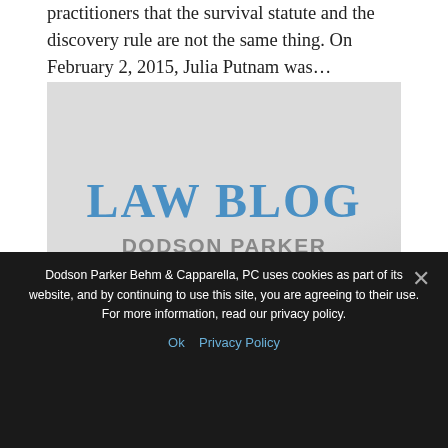practitioners that the survival statute and the discovery rule are not the same thing. On February 2, 2015, Julia Putnam was…
[Figure (logo): Law Blog logo for Dodson Parker Behm & Capparella PC — 'LAW BLOG' in large blue serif text, 'DODSON PARKER BEHM & CAPPARELLA PC' in gray sans-serif below, on a light gray background.]
Dodson Parker Behm & Capparella, PC uses cookies as part of its website, and by continuing to use this site, you are agreeing to their use. For more information, read our privacy policy.
Ok   Privacy Policy